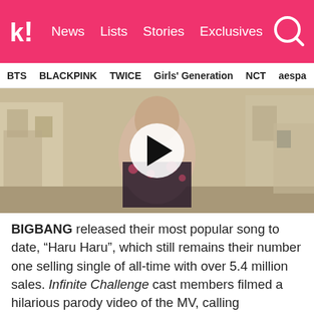k! News  Lists  Stories  Exclusives
BTS  BLACKPINK  TWICE  Girls' Generation  NCT  aespa
[Figure (screenshot): Video thumbnail showing a person in a floral shirt in a street scene with a play button overlay]
BIGBANG released their most popular song to date, "Haru Haru", which still remains their number one selling single of all-time with over 5.4 million sales. Infinite Challenge cast members filmed a hilarious parody video of the MV, calling themselves BIG BAG. It was so popular that they performed it at their "Me & U" concert.